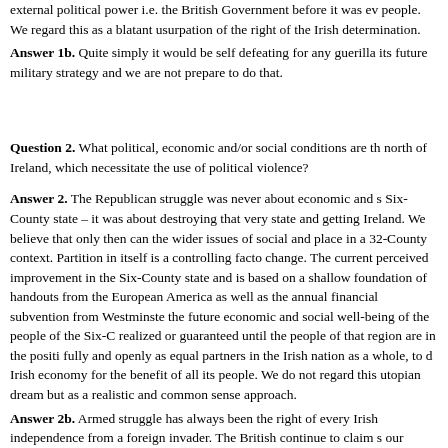external political power i.e. the British Government before it was ev people. We regard this as a blatant usurpation of the right of the Irish determination.
Answer 1b. Quite simply it would be self defeating for any guerilla its future military strategy and we are not prepare to do that.
Question 2. What political, economic and/or social conditions are th north of Ireland, which necessitate the use of political violence?
Answer 2. The Republican struggle was never about economic and s Six-County state – it was about destroying that very state and getting Ireland. We believe that only then can the wider issues of social and place in a 32-County context. Partition in itself is a controlling facto change. The current perceived improvement in the Six-County state and is based on a shallow foundation of handouts from the European America as well as the annual financial subvention from Westminster the future economic and social well-being of the people of the Six-C realized or guaranteed until the people of that region are in the positi fully and openly as equal partners in the Irish nation as a whole, to d Irish economy for the benefit of all its people. We do not regard this utopian dream but as a realistic and common sense approach.
Answer 2b. Armed struggle has always been the right of every Irish independence from a foreign invader. The British continue to claim s our country and while that is the case armed struggle will always be